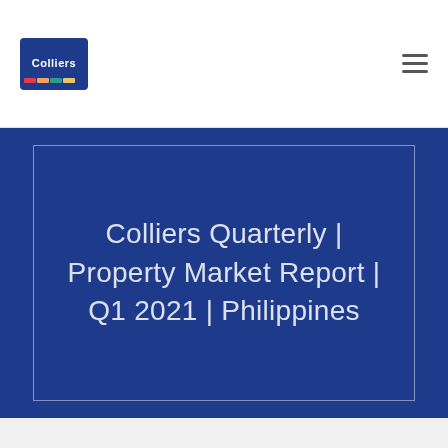[Figure (logo): Colliers logo — blue square background with white 'Colliers' text and multicolored horizontal stripes at the bottom]
Colliers Quarterly | Property Market Report | Q1 2021 | Philippines